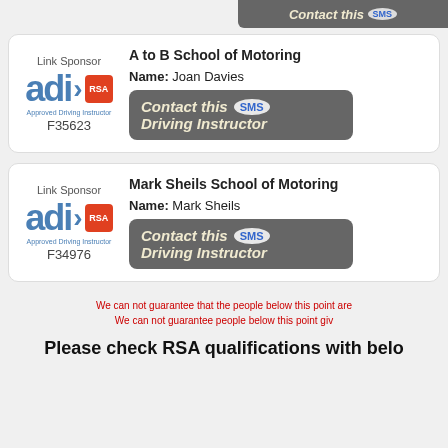[Figure (other): Partial top card showing a dark contact button strip at top right]
Link Sponsor
[Figure (logo): ADI Approved Driving Instructor logo with RSA red square badge, registration number F35623]
A to B School of Motoring
Name: Joan Davies
[Figure (other): Contact this Driving Instructor button with SMS bubble]
Link Sponsor
[Figure (logo): ADI Approved Driving Instructor logo with RSA red square badge, registration number F34976]
Mark Sheils School of Motoring
Name: Mark Sheils
[Figure (other): Contact this Driving Instructor button with SMS bubble]
We can not guarantee that the people below this point are
We can not guarantee people below this point giv
Please check RSA qualifications with belo